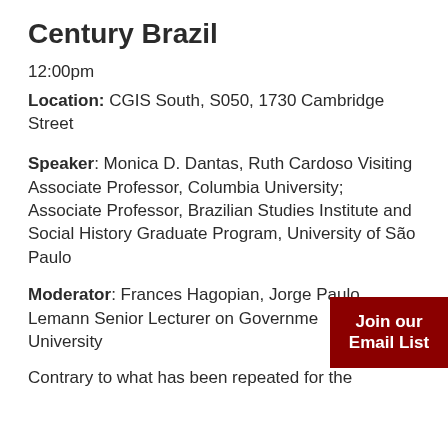Century Brazil
12:00pm
Location: CGIS South, S050, 1730 Cambridge Street
Speaker: Monica D. Dantas, Ruth Cardoso Visiting Associate Professor, Columbia University; Associate Professor, Brazilian Studies Institute and Social History Graduate Program, University of São Paulo
Moderator: Frances Hagopian, Jorge Paulo Lemann Senior Lecturer on Government, Harvard University
Contrary to what has been repeated for the